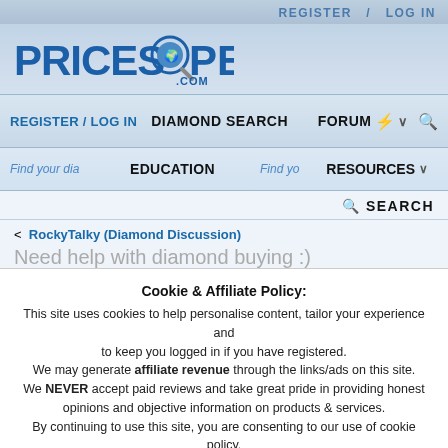REGISTER / LOG IN
[Figure (logo): PriceScope.com logo with magnifying glass]
REGISTER / LOG IN   DIAMOND SEARCH   FORUM
Find your dia... EDUCATION Find yo... RESOURCES
SEARCH
< RockyTalky (Diamond Discussion)
Need help with diamond buying :)
Cookie & Affiliate Policy:
This site uses cookies to help personalise content, tailor your experience and to keep you logged in if you have registered.
We may generate affiliate revenue through the links/ads on this site.
We NEVER accept paid reviews and take great pride in providing honest opinions and objective information on products & services.
By continuing to use this site, you are consenting to our use of cookie policy.
✓ Accept   Learn more...